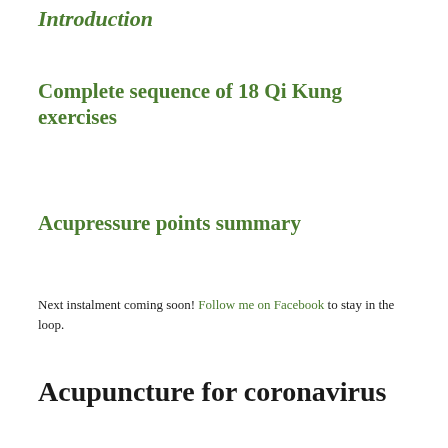Introduction
Complete sequence of 18 Qi Kung exercises
Acupressure points summary
Next instalment coming soon! Follow me on Facebook to stay in the loop.
Acupuncture for coronavirus